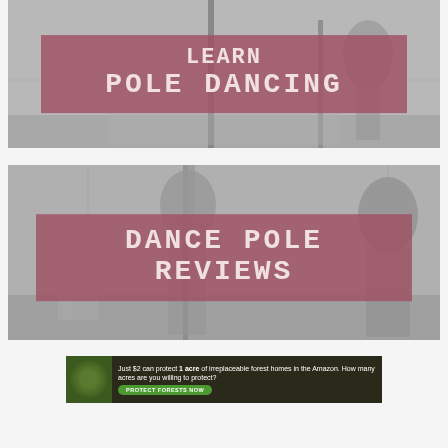[Figure (photo): Black and white photo of a pole dancing studio with text overlay reading 'LEARN POLE DANCING' on a mauve/dusty rose background banner]
[Figure (photo): Black and white photo of a woman near a dance pole with text overlay reading 'DANCE POLE REVIEWS' on a mauve/dusty rose background banner]
[Figure (infographic): Advertisement banner: 'Just $2 can protect 1 acre of irreplaceable forest homes in the Amazon. How many acres are you willing to protect?' with green 'PROTECT FORESTS NOW' button]